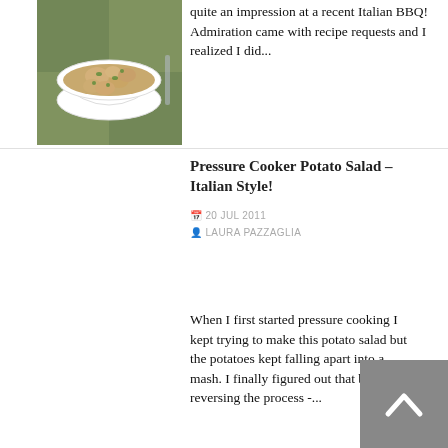quite an impression at a recent Italian BBQ! Admiration came with recipe requests and I realized I did...
[Figure (photo): A bowl of Italian-style potato salad with herbs, served in a white scalloped bowl on a checkered cloth]
Pressure Cooker Potato Salad – Italian Style!
20 JUL 2011
LAURA PAZZAGLIA
When I first started pressure cooking I kept trying to make this potato salad but the potatoes kept falling apart into a mash. I finally figured out that by reversing the process -...